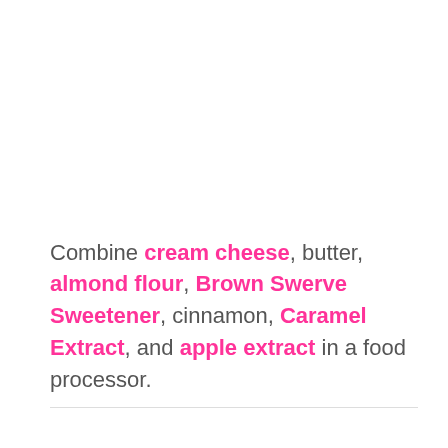Combine cream cheese, butter, almond flour, Brown Swerve Sweetener, cinnamon, Caramel Extract, and apple extract in a food processor.